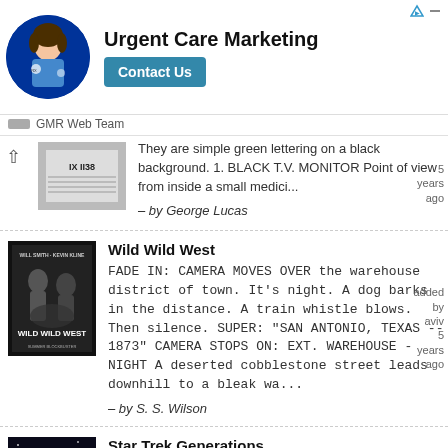[Figure (infographic): Advertisement banner for Urgent Care Marketing with a young person in scrubs in a circular blue background, title 'Urgent Care Marketing', and a 'Contact Us' button. Source attributed to GMR Web Team.]
They are simple green lettering on a black background. 1. BLACK T.V. MONITOR Point of view from inside a small medici... – by George Lucas
Wild Wild West
FADE IN: CAMERA MOVES OVER the warehouse district of town. It's night. A dog barks in the distance. A train whistle blows. Then silence. SUPER: "SAN ANTONIO, TEXAS -- 1873" CAMERA STOPS ON: EXT. WAREHOUSE - NIGHT A deserted cobblestone street leads downhill to a bleak wa...
– by S. S. Wilson
Star Trek Generations